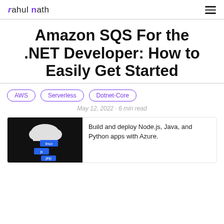rahul nath
Amazon SQS For the .NET Developer: How to Easily Get Started
AWS
Serverless
Dotnet-Core
May 12, 2022 - 6 min read
[Figure (illustration): Dark background image with cloud icon and blue technology tiles labeled linux, java, php]
Build and deploy Node.js, Java, and Python apps with Azure.